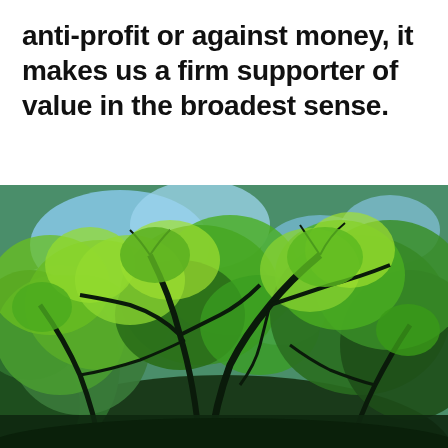anti-profit or against money, it makes us a firm supporter of value in the broadest sense.
[Figure (photo): Upward-looking photograph of tree canopy with green leaves and branches silhouetted against a blue sky, taken from below.]